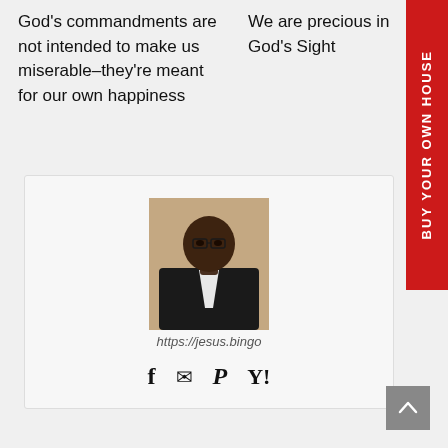God's commandments are not intended to make us miserable–they're meant for our own happiness
We are precious in God's Sight
BUY YOUR OWN HOUSE
[Figure (photo): Portrait photo of a man wearing glasses and a dark jacket over a white shirt]
https://jesus.bingo
f ✉ P Y!